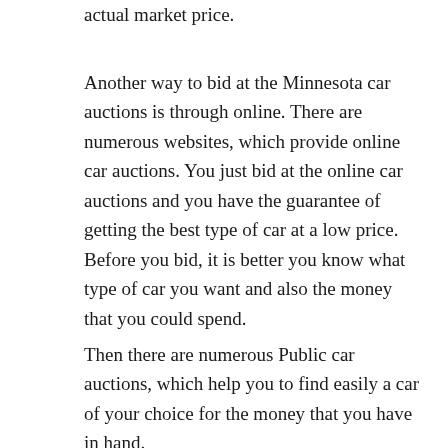actual market price.
Another way to bid at the Minnesota car auctions is through online. There are numerous websites, which provide online car auctions. You just bid at the online car auctions and you have the guarantee of getting the best type of car at a low price. Before you bid, it is better you know what type of car you want and also the money that you could spend.
Then there are numerous Public car auctions, which help you to find easily a car of your choice for the money that you have in hand.